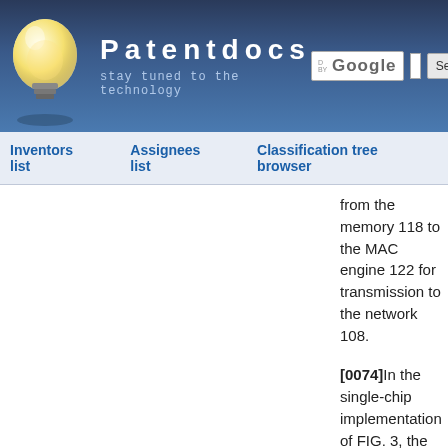[Figure (screenshot): Patentdocs website header with light bulb logo, site title 'Patentdocs', subtitle 'stay tuned to the technology', and Google search box with Search button]
Inventors list   Assignees list   Classification tree browser
from the memory 118 to the MAC engine 122 for transmission to the network 108.
[0074]In the single-chip implementation of FIG. 3, the controller 102a comprises a network port manager 182, which may automatically negotiate with an external physical (PHY) transceiver via management data clock (MDC) and management data I/O (MDIO) signals. The network port manager 175 may also set up the MAC engine 122 to be consistent with the negotiated configuration. Circuit